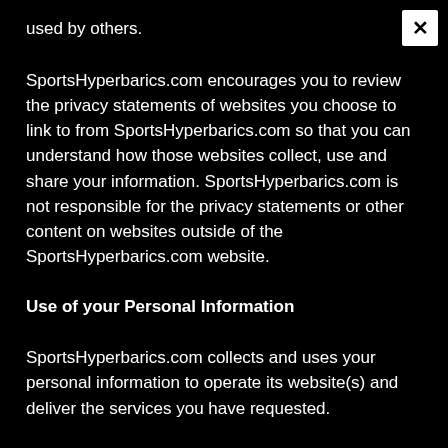used by others.
SportsHyperbarics.com encourages you to review the privacy statements of websites you choose to link to from SportsHyperbarics.com so that you can understand how those websites collect, use and share your information. SportsHyperbarics.com is not responsible for the privacy statements or other content on websites outside of the SportsHyperbarics.com website.
Use of your Personal Information
SportsHyperbarics.com collects and uses your personal information to operate its website(s) and deliver the services you have requested.